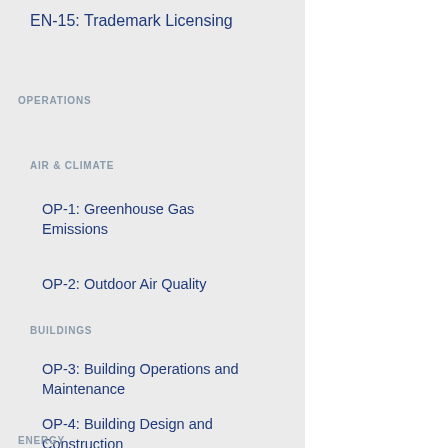EN-15: Trademark Licensing
OPERATIONS
AIR & CLIMATE
OP-1: Greenhouse Gas Emissions
OP-2: Outdoor Air Quality
BUILDINGS
OP-3: Building Operations and Maintenance
OP-4: Building Design and Construction
ENERGY
The information pre STARS reports and i STARS reports are n inconsistent with cr reported by an insti